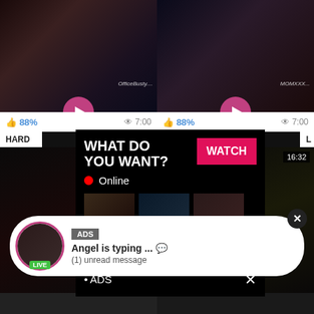[Figure (screenshot): Adult video thumbnail top left with watermark OfficeBusty]
[Figure (screenshot): Adult video thumbnail top right with watermark MOMXXX]
👍 88%   👁 7:00
👍 88%   👁 7:00
HARD
[Figure (screenshot): Adult video thumbnail middle left]
[Figure (screenshot): Adult video thumbnail middle right with duration 16:32]
[Figure (screenshot): Popup overlay: WHAT DO YOU WANT? WATCH button, Online indicator, thumbnails, text: Cumming, ass fucking, squirt or... ADS x]
WHAT DO YOU WANT?
WATCH
Online
Cumming, ass fucking, squirt or...
• ADS
[Figure (screenshot): ADS notification bubble: Angel is typing ... (1) unread message, LIVE badge avatar]
ADS
Angel is typing ... 💬
(1) unread message
👍 80%   28:00
BEAUTI... L SEX